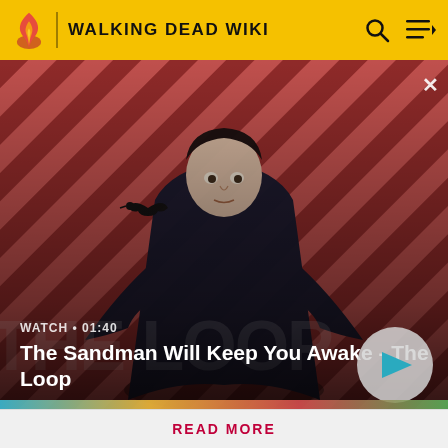WALKING DEAD WIKI
[Figure (screenshot): Video thumbnail showing a dark figure in a black coat with a raven on their shoulder, against a red and dark diagonal striped background. Text reads: WATCH • 01:40 / The Sandman Will Keep You Awake - The Loop. A play button is visible on the right.]
Attention! Please be aware that spoilers are not allowed on the wiki and a violation of this policy may result in a ban.
READ MORE